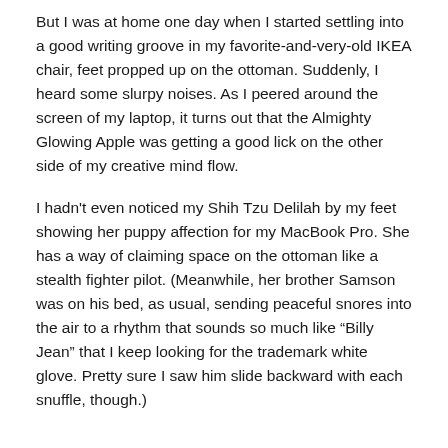But I was at home one day when I started settling into a good writing groove in my favorite-and-very-old IKEA chair, feet propped up on the ottoman. Suddenly, I heard some slurpy noises. As I peered around the screen of my laptop, it turns out that the Almighty Glowing Apple was getting a good lick on the other side of my creative mind flow.
I hadn't even noticed my Shih Tzu Delilah by my feet showing her puppy affection for my MacBook Pro. She has a way of claiming space on the ottoman like a stealth fighter pilot. (Meanwhile, her brother Samson was on his bed, as usual, sending peaceful snores into the air to a rhythm that sounds so much like “Billy Jean” that I keep looking for the trademark white glove. Pretty sure I saw him slide backward with each snuffle, though.)